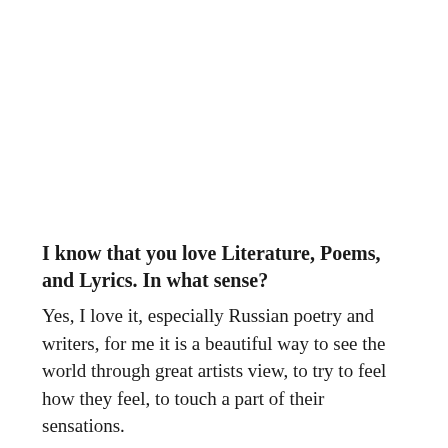I know that you love Literature, Poems, and Lyrics. In what sense?
Yes, I love it, especially Russian poetry and writers, for me it is a beautiful way to see the world through great artists view, to try to feel how they feel, to touch a part of their sensations.
Could you tell us a bit about your great and innovative NATURAL SLIM BODY MODEL STYLE?